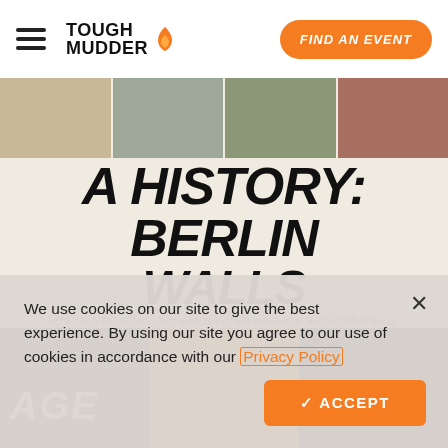[Figure (screenshot): Tough Mudder website screenshot with navigation header showing hamburger menu, Tough Mudder logo with flame icon, and orange 'FIND AN EVENT' button]
A HISTORY: BERLIN WALLS
Looks simple, but this obstacle has stuck around as a
We use cookies on our site to give the best experience. By using our site you agree to our use of cookies in accordance with our Privacy Policy
ACCEPT